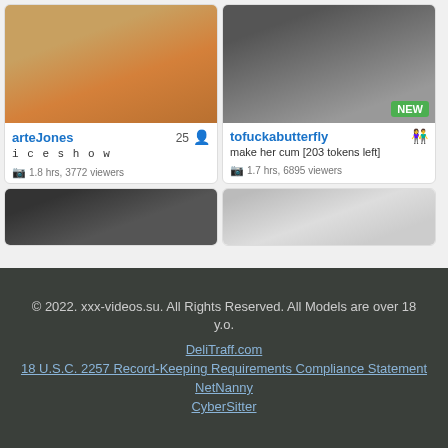[Figure (screenshot): Two webcam model cards. Left card: arteJones, 25 viewers, 'i c e s h o w', 1.8 hrs, 3772 viewers. Right card: tofuckabutterfly, NEW badge, 'make her cum [203 tokens left]', 1.7 hrs, 6895 viewers.]
[Figure (screenshot): Two partially visible webcam thumbnails at bottom of grid.]
© 2022. xxx-videos.su. All Rights Reserved. All Models are over 18 y.o.
DeliTraff.com
18 U.S.C. 2257 Record-Keeping Requirements Compliance Statement
NetNanny
CyberSitter